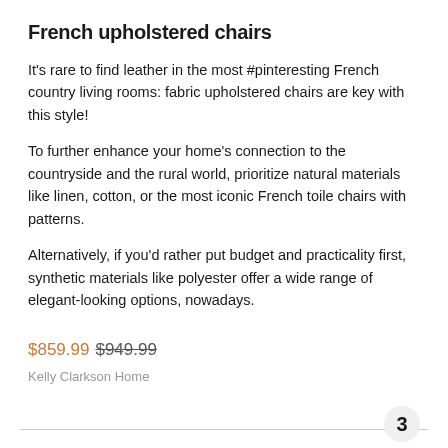French upholstered chairs
It's rare to find leather in the most #pinteresting French country living rooms: fabric upholstered chairs are key with this style!
To further enhance your home's connection to the countryside and the rural world, prioritize natural materials like linen, cotton, or the most iconic French toile chairs with patterns.
Alternatively, if you'd rather put budget and practicality first, synthetic materials like polyester offer a wide range of elegant-looking options, nowadays.
$859.99 $949.99
Kelly Clarkson Home
3